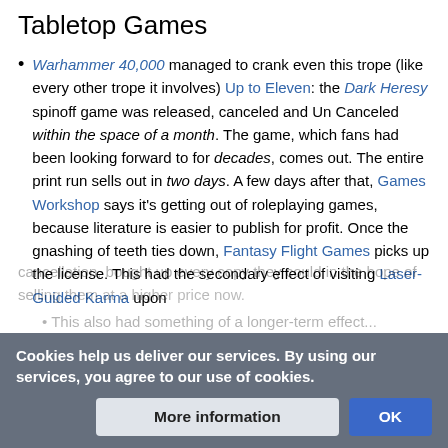Tabletop Games
Warhammer 40,000 managed to crank even this trope (like every other trope it involves) Up to Eleven: the Dark Heresy spinoff game was released, canceled and Un Canceled within the space of a month. The game, which fans had been looking forward to for decades, comes out. The entire print run sells out in two days. A few days after that, Games Workshop says it's getting out of roleplaying games, because literature is easier to publish for profit. Once the gnashing of teeth ties down, Fantasy Flight Games picks up the license. This had the secondary effect of visiting Laser-Guided Karma upon cancellation, bought up every copy they could in the hope of selling them at a higher price now.
Cookies help us deliver our services. By using our services, you agree to our use of cookies.
This also had something of a longer-term effect...